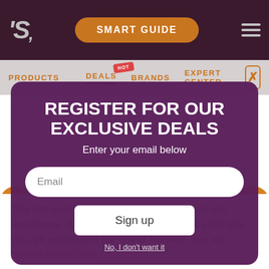[Figure (screenshot): Website header with dark purple background, 'S' logo on left, orange 'SMART GUIDE' button in center, hamburger menu on right]
[Figure (screenshot): Navigation bar with PRODUCTS, DEALS (active, with HOT badge), BRANDS, EXPERT CENTER links and orange X close button]
[Figure (screenshot): Purple modal popup for email signup with title, email input, Sign up button, and No I don't want it link]
REGISTER FOR OUR EXCLUSIVE DEALS
Enter your email below
Email
Sign up
No, I don't want it
This site uses cookies to enhance your web site experience. By continuing to browse or use this site, you are agreeing to our use of cookies. See our privacy policy here.